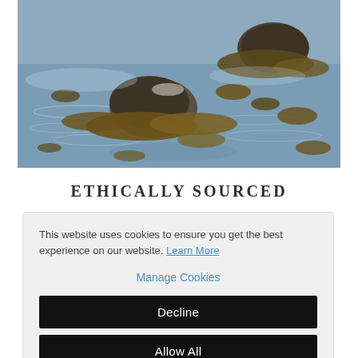[Figure (photo): Coastal scene with rocks covered in seaweed/kelp surrounded by shallow water with ripples and reflections.]
ETHICALLY SOURCED
This website uses cookies to ensure you get the best experience on our website. Learn More
Manage Cookies
Decline
Allow All